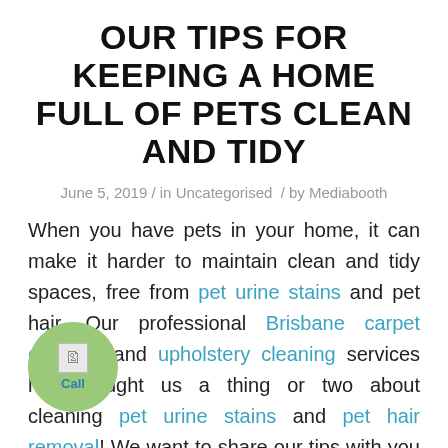OUR TIPS FOR KEEPING A HOME FULL OF PETS CLEAN AND TIDY
June 5, 2019 / in Uncategorised / by Mediabooth
When you have pets in your home, it can make it harder to maintain clean and tidy spaces, free from pet urine stains and pet hair. Our professional Brisbane carpet cleaning and upholstery cleaning services have taught us a thing or two about cleaning pet urine stains and pet hair removal! We want to share our tips with you on how to keep your home clean
[Figure (illustration): Green circle with broken image icon and 'Call' text label overlay]